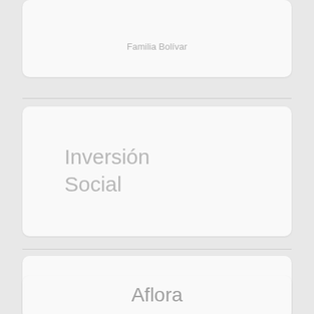Familia Bolívar
Inversión Social
[Figure (logo): Cultivarte logo - Fundación Bolívar Davivienda]
Aflora